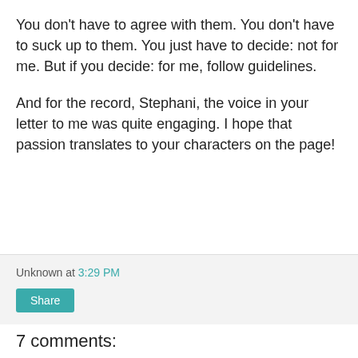You don't have to agree with them. You don't have to suck up to them. You just have to decide: not for me. But if you decide: for me, follow guidelines.
And for the record, Stephani, the voice in your letter to me was quite engaging. I hope that passion translates to your characters on the page!
Unknown at 3:29 PM
Share
7 comments: